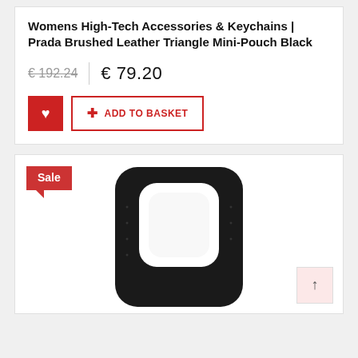Womens High-Tech Accessories & Keychains | Prada Brushed Leather Triangle Mini-Pouch Black
€ 192.24  €  79.20
ADD TO BASKET
Sale
[Figure (photo): Black leather phone case with rounded rectangular camera cutout, shown against white background]